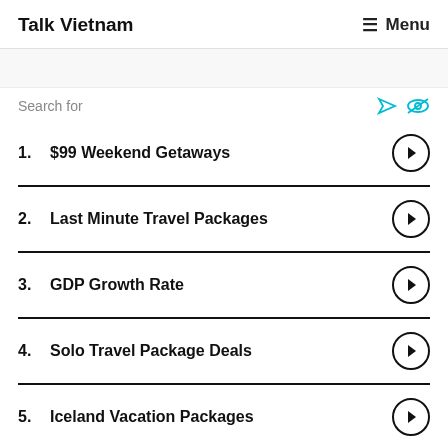Talk Vietnam   ≡ Menu
1. $99 Weekend Getaways
2. Last Minute Travel Packages
3. GDP Growth Rate
4. Solo Travel Package Deals
5. Iceland Vacation Packages
Vietnam, India to boost cooperation in tourism and